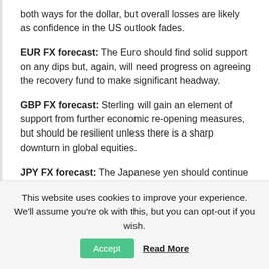both ways for the dollar, but overall losses are likely as confidence in the US outlook fades.
EUR FX forecast: The Euro should find solid support on any dips but, again, will need progress on agreeing the recovery fund to make significant headway.
GBP FX forecast: Sterling will gain an element of support from further economic re-opening measures, but should be resilient unless there is a sharp downturn in global equities.
JPY FX forecast: The Japanese yen should continue to be supported by the underlying lack of yield for other major currencies.
This website uses cookies to improve your experience. We'll assume you're ok with this, but you can opt-out if you wish. Accept Read More